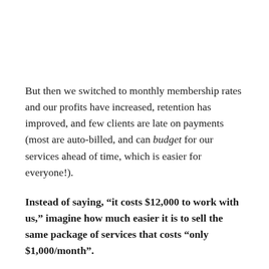But then we switched to monthly membership rates and our profits have increased, retention has improved, and few clients are late on payments (most are auto-billed, and can budget for our services ahead of time, which is easier for everyone!).
Instead of saying, “it costs $12,000 to work with us,” imagine how much easier it is to sell the same package of services that costs “only $1,000/month”.
Not only is it easier to get someone to say YES to working with you, but you can increase profitability by toying with the monthly price.